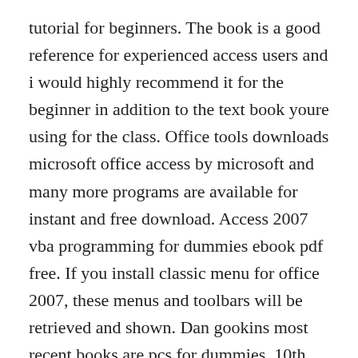tutorial for beginners. The book is a good reference for experienced access users and i would highly recommend it for the beginner in addition to the text book youre using for the class. Office tools downloads microsoft office access by microsoft and many more programs are available for instant and free download. Access 2007 vba programming for dummies ebook pdf free. If you install classic menu for office 2007, these menus and toolbars will be retrieved and shown. Dan gookins most recent books are pcs for dummies, 10th edition, laptops for dummies, 2nd edition, and some